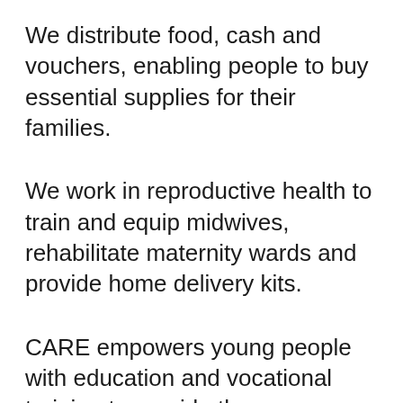We distribute food, cash and vouchers, enabling people to buy essential supplies for their families.
We work in reproductive health to train and equip midwives, rehabilitate maternity wards and provide home delivery kits.
CARE empowers young people with education and vocational training to provide them opportunities.